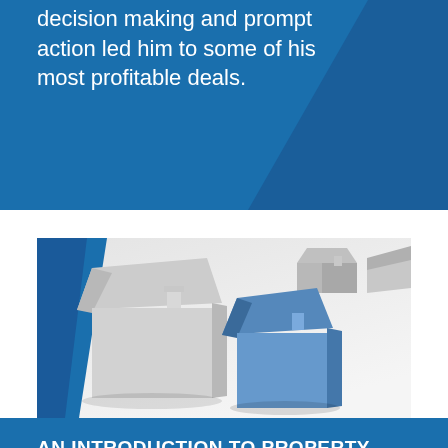decision making and prompt action led him to some of his most profitable deals.
[Figure (photo): 3D rendered miniature house models — several grey/white houses and one blue house arranged on a white surface, with a blue diagonal element on the left side.]
AN INTRODUCTION TO PROPERTY